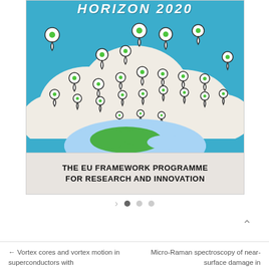[Figure (illustration): Horizon 2020 EU Framework Programme for Research and Innovation logo/banner. Shows a blue sky background with a cloud and many map-pin/location markers floating above a stylized globe. Text at top reads 'HORIZON 2020' and bottom bar reads 'THE EU FRAMEWORK PROGRAMME FOR RESEARCH AND INNOVATION'.]
← Vortex cores and vortex motion in superconductors with
Micro-Raman spectroscopy of near-surface damage in